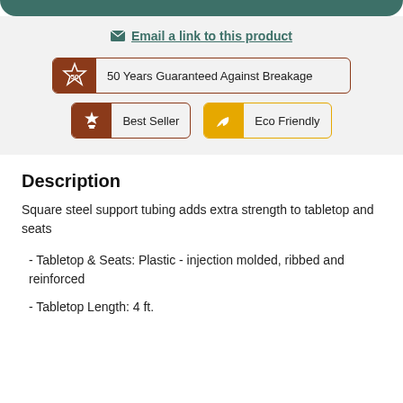Email a link to this product
50 Years Guaranteed Against Breakage
Best Seller
Eco Friendly
Description
Square steel support tubing adds extra strength to tabletop and seats
- Tabletop & Seats: Plastic - injection molded, ribbed and reinforced
- Tabletop Length: 4 ft.